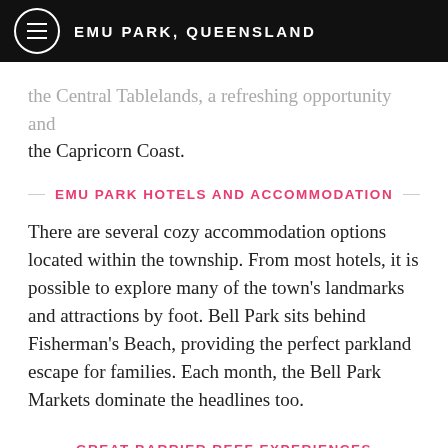EMU PARK, QUEENSLAND
the Central Tablelands, providing opp… and the Capricorn Coast.
EMU PARK HOTELS AND ACCOMMODATION
There are several cozy accommodation options located within the township. From most hotels, it is possible to explore many of the town's landmarks and attractions by foot. Bell Park sits behind Fisherman's Beach, providing the perfect parkland escape for families. Each month, the Bell Park Markets dominate the headlines too.
GREAT BARRIER REEF EXPERIENCES
There are plenty of things to experience on Great